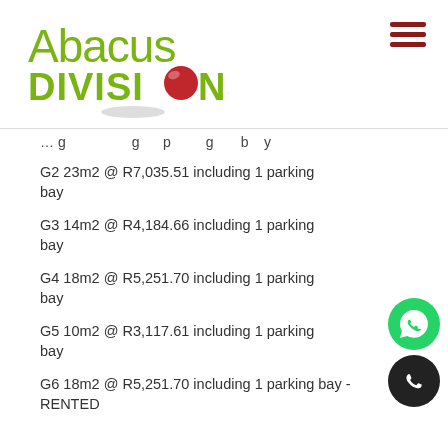[Figure (logo): Abacus Divisions logo with green text and red ball]
… including 1 parking bay
G2 23m2 @ R7,035.51 including 1 parking bay
G3 14m2 @ R4,184.66 including 1 parking bay
G4 18m2 @ R5,251.70 including 1 parking bay
G5 10m2 @ R3,117.61 including 1 parking bay
G6 18m2 @ R5,251.70 including 1 parking bay - RENTED